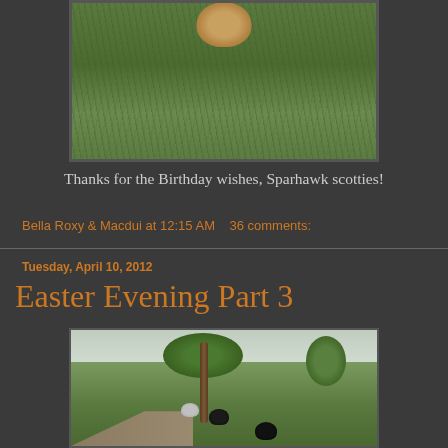[Figure (photo): Top-down view of a dog on grass, partially visible at top of page]
Thanks for the Birthday wishes, Sparhawk scotties!
Bella Roxy & Macdui at 12:15 AM   36 comments:
Tuesday, April 10, 2012
Easter Evening Part 3
[Figure (photo): Two or three Scottish terrier dogs in a park with trees and green grass field]